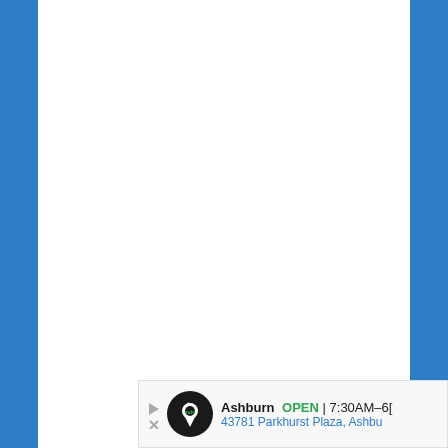[Figure (other): Webpage layout with blue side bars on left and right, white content area in the center, and an advertisement banner in the bottom right corner showing 'The Auto' logo with Ashburn location details: OPEN 7:30AM-6[PM], 43781 Parkhurst Plaza, Ashbu[rn]]